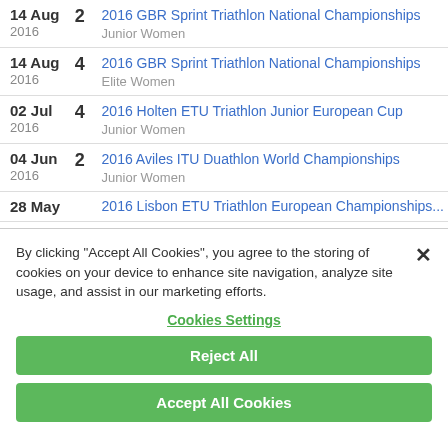| Date | Pos | Event |
| --- | --- | --- |
| 14 Aug 2016 | 2 | 2016 GBR Sprint Triathlon National Championships
Junior Women |
| 14 Aug 2016 | 4 | 2016 GBR Sprint Triathlon National Championships
Elite Women |
| 02 Jul 2016 | 4 | 2016 Holten ETU Triathlon Junior European Cup
Junior Women |
| 04 Jun 2016 | 2 | 2016 Aviles ITU Duathlon World Championships
Junior Women |
| 28 May ... |  | 2016 Lisbon ETU Triathlon European Championships... |
By clicking "Accept All Cookies", you agree to the storing of cookies on your device to enhance site navigation, analyze site usage, and assist in our marketing efforts.
Cookies Settings
Reject All
Accept All Cookies